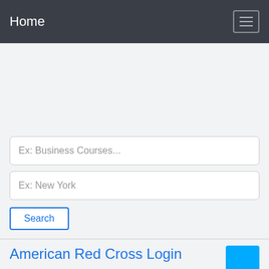Home
Ex: Business Courses...
Ex: New York
Search
American Red Cross Login
Course  American Red Cross Login  Please note: Your